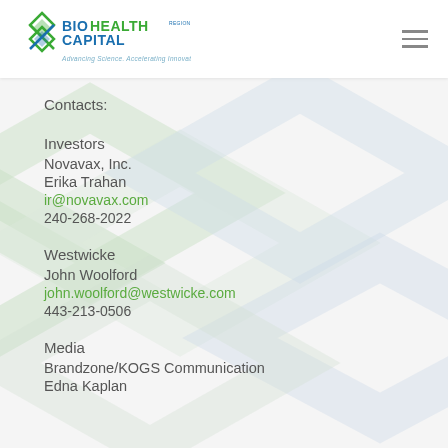[Figure (logo): BioHealth Capital Region logo with X mark, text 'BIOHEALTH CAPITAL REGION' and tagline 'Advancing Science. Accelerating Innovation.']
Contacts:
Investors
Novavax, Inc.
Erika Trahan
ir@novavax.com
240-268-2022
Westwicke
John Woolford
john.woolford@westwicke.com
443-213-0506
Media
Brandzone/KOGS Communication
Edna Kaplan